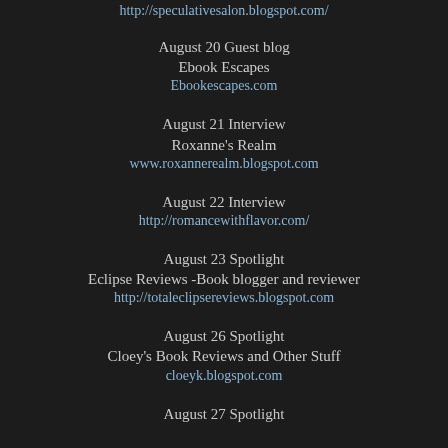http://speculativesalon.blogspot.com/
August 20 Guest blog
Ebook Escapes
Ebookescapes.com
August 21 Interview
Roxanne’s Realm
www.roxannerealm.blogspot.com
August 22 Interview
http://romancewithflavor.com/
August 23 Spotlight
Eclipse Reviews -Book blogger and reviewer
http://totaleclipsereviews.blogspot.com
August 26 Spotlight
Cloey's Book Reviews and Other Stuff
cloeyk.blogspot.com
August 27 Spotlight